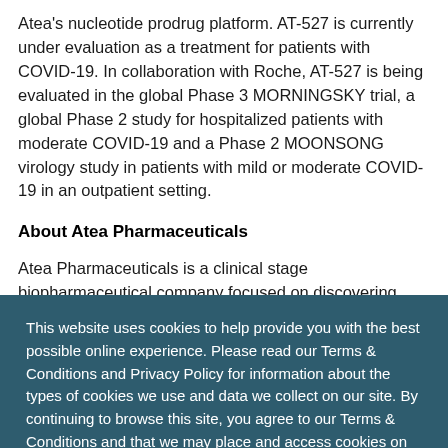Atea's nucleotide prodrug platform. AT-527 is currently under evaluation as a treatment for patients with COVID-19. In collaboration with Roche, AT-527 is being evaluated in the global Phase 3 MORNINGSKY trial, a global Phase 2 study for hospitalized patients with moderate COVID-19 and a Phase 2 MOONSONG virology study in patients with mild or moderate COVID-19 in an outpatient setting.
About Atea Pharmaceuticals
Atea Pharmaceuticals is a clinical stage biopharmaceutical company focused on discovering, developing and commercializing oral therapies to address
This website uses cookies to help provide you with the best possible online experience. Please read our Terms & Conditions and Privacy Policy for information about the types of cookies we use and data we collect on our site. By continuing to browse this site, you agree to our Terms & Conditions and that we may place and access cookies on your device.
I AGREE
potent, and selective nucleotide prodrugs for difficult to treat, life-threatening viral infections, including a...